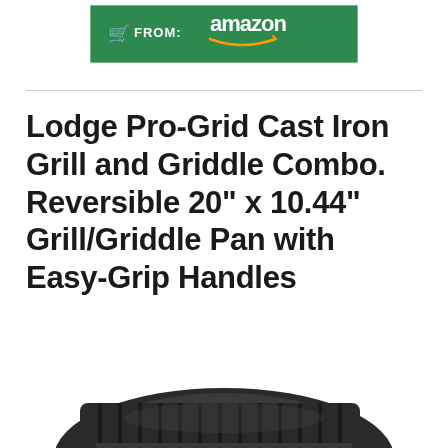[Figure (screenshot): Green Amazon 'Buy From' banner button with cart icon and Amazon logo]
Lodge Pro-Grid Cast Iron Grill and Griddle Combo. Reversible 20" x 10.44" Grill/Griddle Pan with Easy-Grip Handles
[Figure (photo): Partial view of black cast iron grill/griddle pan at the bottom of the page]